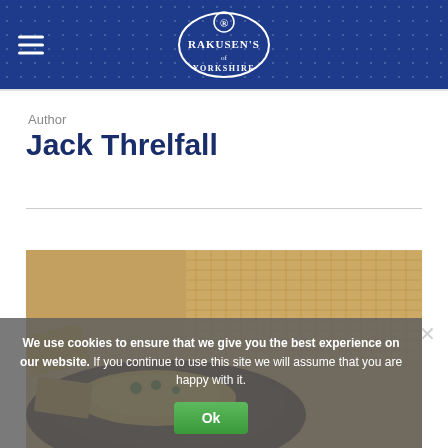Rakusen's of Yorkshire
Author
Jack Threlfall
[Figure (photo): Food photograph showing matzah crackers and a dark bowl with a food dish containing vegetables]
We use cookies to ensure that we give you the best experience on our website. If you continue to use this site we will assume that you are happy with it.